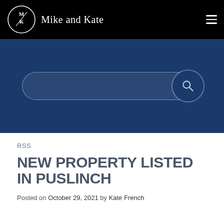[Figure (logo): Mike and Kate real estate brand logo with circular MK monogram and navigation bar on black background]
[Figure (screenshot): Blue search bar section with rounded search input containing filter icon and dark blue circular search button with magnifying glass icon]
RSS
NEW PROPERTY LISTED IN PUSLINCH
Posted on October 29, 2021 by Kate French